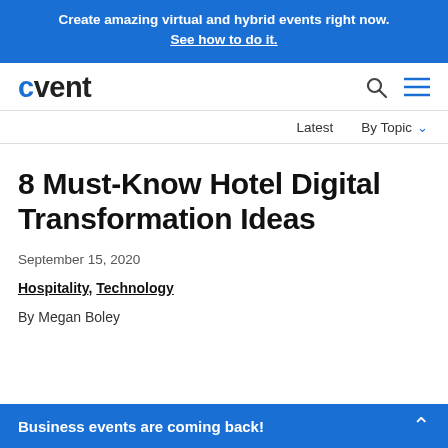Create amazing virtual and hybrid events right now. See how to do it.
[Figure (logo): Cvent logo with blue 'c' and dark 'vent' text]
Latest   By Topic
8 Must-Know Hotel Digital Transformation Ideas
September 15, 2020
Hospitality, Technology
By Megan Boley
Business events are coming back!